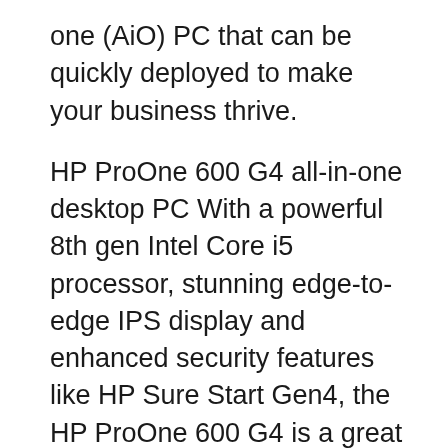one (AiO) PC that can be quickly deployed to make your business thrive.
HP ProOne 600 G4 all-in-one desktop PC With a powerful 8th gen Intel Core i5 processor, stunning edge-to-edge IPS display and enhanced security features like HP Sure Start Gen4, the HP ProOne 600 G4 is a great all-in-one (AiO) PC that can be quickly deployed to make your business thrive. The HP ProOne 600 AiO is a sound investment that can be quickly deployed into demanding environments with a new micro-edge, anti-glare, in-cell touch вЂ¦
What HP ProOne 600 G2 memory speed is supported? DDR4-2133. Why may there be advantages of HP ProOne 600 G2 over other?